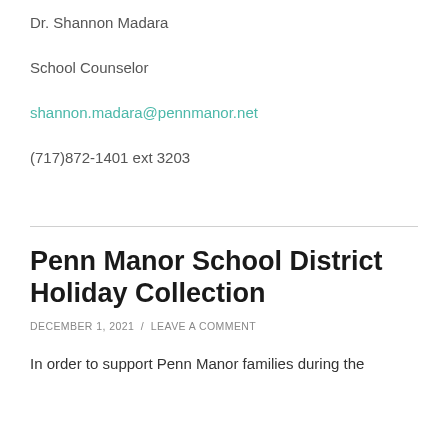Dr. Shannon Madara
School Counselor
shannon.madara@pennmanor.net
(717)872-1401 ext 3203
Penn Manor School District Holiday Collection
DECEMBER 1, 2021 / LEAVE A COMMENT
In order to support Penn Manor families during the